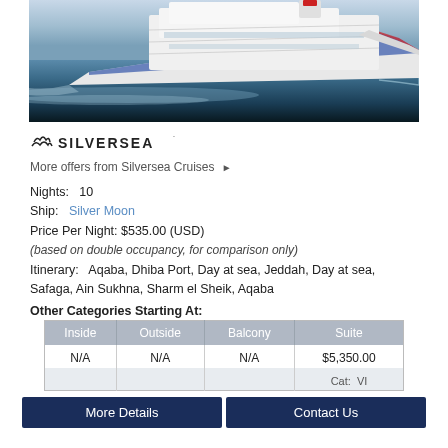[Figure (photo): Silversea cruise ship (Silver Moon) sailing on open sea, bow facing right, white hull with blue stripe]
[Figure (logo): Silversea logo with wave icon and SILVERSEA text]
More offers from Silversea Cruises ▶
Nights:  10
Ship:  Silver Moon
Price Per Night:  $535.00 (USD)
(based on double occupancy, for comparison only)
Itinerary:  Aqaba, Dhiba Port, Day at sea, Jeddah, Day at sea, Safaga, Ain Sukhna, Sharm el Sheik, Aqaba
Other Categories Starting At:
| Inside | Outside | Balcony | Suite |
| --- | --- | --- | --- |
| N/A | N/A | N/A | $5,350.00 |
|  |  |  | Cat:  VI |
More Details
Contact Us